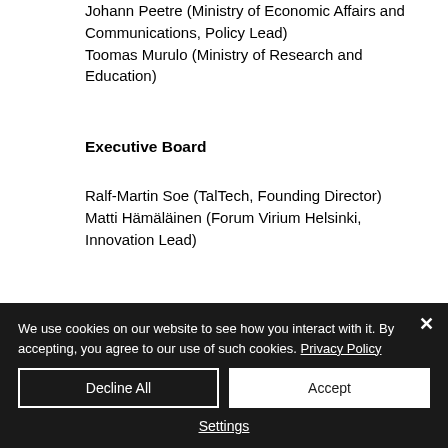Johann Peetre (Ministry of Economic Affairs and Communications, Policy Lead)
Toomas Murulo (Ministry of Research and Education)
Executive Board
Ralf-Martin Soe (TalTech, Founding Director)
Matti Hämäläinen (Forum Virium Helsinki, Innovation Lead)
We use cookies on our website to see how you interact with it. By accepting, you agree to our use of such cookies. Privacy Policy
Decline All
Accept
Settings